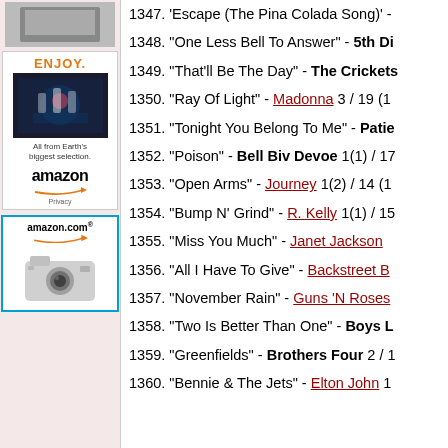[Figure (advertisement): Amazon advertisement with 'ENJOY.' heading, movie image, 'All from Earth's biggest selection.' tagline, Amazon logo with arrow, and Privacy link]
[Figure (advertisement): Amazon.com advertisement with logo and digital camera image]
1347. "Escape (The Pina Colada Song)" -
1348. "One Less Bell To Answer" - 5th Di
1349. "That'll Be The Day" - The Crickets
1350. "Ray Of Light" - Madonna 3 / 19 (1
1351. "Tonight You Belong To Me" - Patie
1352. "Poison" - Bell Biv Devoe 1(1) / 17
1353. "Open Arms" - Journey 1(2) / 14 (1
1354. "Bump N' Grind" - R. Kelly 1(1) / 15
1355. "Miss You Much" - Janet Jackson
1356. "All I Have To Give" - Backstreet B
1357. "November Rain" - Guns 'N Roses
1358. "Two Is Better Than One" - Boys L
1359. "Greenfields" - Brothers Four 2 / 1
1360. "Bennie & The Jets" - Elton John 1